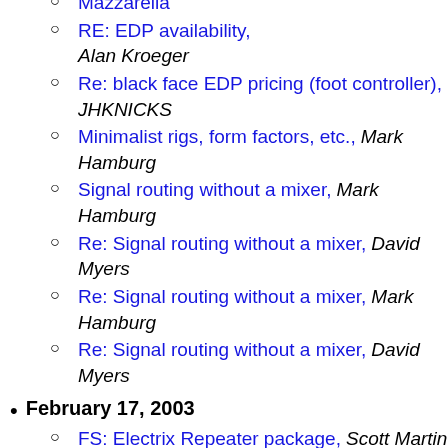RE: EDP availability, Alan Kroeger
Re: black face EDP pricing (foot controller), JHKNICKS
Minimalist rigs, form factors, etc., Mark Hamburg
Signal routing without a mixer, Mark Hamburg
Re: Signal routing without a mixer, David Myers
Re: Signal routing without a mixer, Mark Hamburg
Re: Signal routing without a mixer, David Myers
February 17, 2003
FS: Electrix Repeater package, Scott Martin
Free Repeater to a good home, Mark